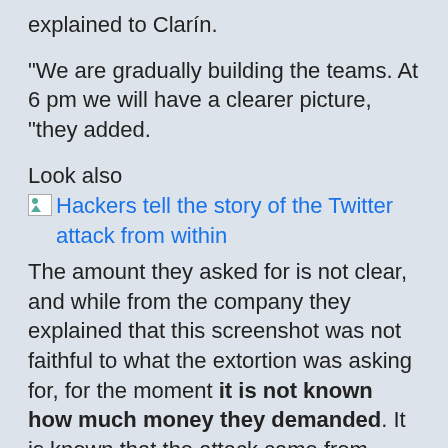explained to Clarín.
“We are gradually building the teams. At 6 pm we will have a clearer picture, “they added.
Look also
Hackers tell the story of the Twitter attack from within
The amount they asked for is not clear, and while from the company they explained that this screenshot was not faithful to what the extortion was asking for, for the moment it is not known how much money they demanded. It is known that the attack came from Russia.